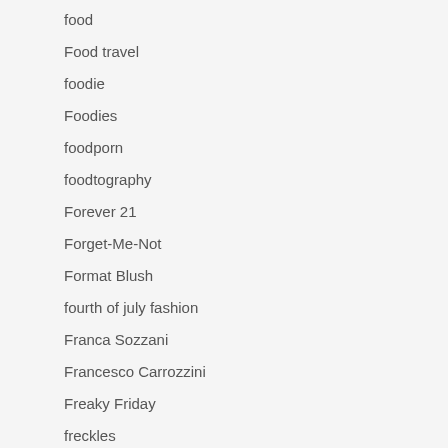food
Food travel
foodie
Foodies
foodporn
foodtography
Forever 21
Forget-Me-Not
Format Blush
fourth of july fashion
Franca Sozzani
Francesco Carrozzini
Freaky Friday
freckles
freelance travel writing
Freja Erichson